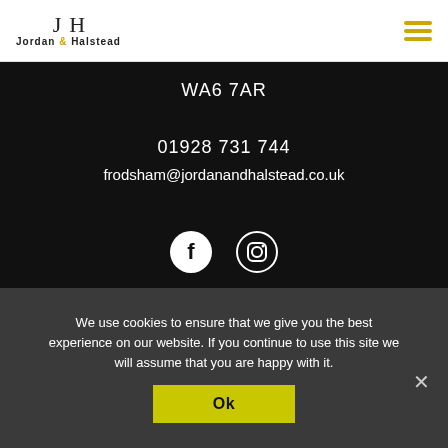[Figure (logo): Jordan & Halstead logo with stylized J H lettermark and company name]
WA6 7AR
01928 731 744
frodsham@jordanandhalstead.co.uk
[Figure (illustration): Facebook and Instagram social media icons in white on black]
© 2022 Jordan & Halstead.
We use cookies to ensure that we give you the best experience on our website. If you continue to use this site we will assume that you are happy with it.